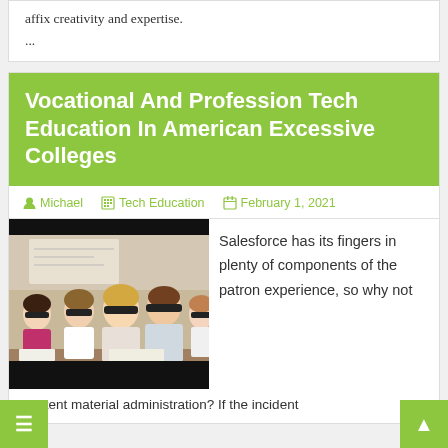affix creativity and expertise.
...
Vocational And Profession Tech Education In American Excessive Colleges
Michael   Tech Education   February 1, 2021
[Figure (photo): Students sitting in a classroom wearing dark augmented reality or VR-style glasses, looking forward attentively.]
Salesforce has its fingers in plenty of components of the patron experience, so why not content material administration? If the incident